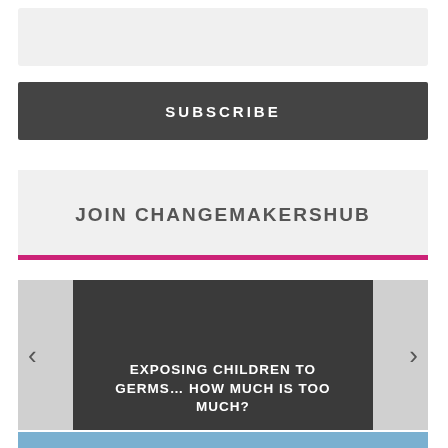[Figure (screenshot): Input/search bar, light gray background]
SUBSCRIBE
JOIN CHANGEMAKERSHUB
[Figure (screenshot): Carousel widget with dark card showing article title 'EXPOSING CHILDREN TO GERMS… HOW MUCH IS TOO MUCH?' with left and right navigation arrows]
[Figure (photo): Partial photo strip at the bottom showing people in suits]